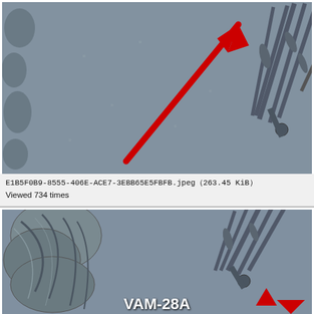[Figure (photo): Close-up macro photograph of a coin surface showing olive branch and field details with a red arrow pointing to a specific area of interest. Gray coin field with olive leaves and stems visible.]
E1B5F0B9-8555-406E-ACE7-3EBB65E5FBFB.jpeg (263.45 KiB) Viewed 734 times
[Figure (photo): Close-up macro photograph of a coin surface showing eagle feathers, olive branch and field details with a red arrow at bottom. Text 'VAM-28A' overlaid in white at bottom. Gray coin surface with metallic relief details.]